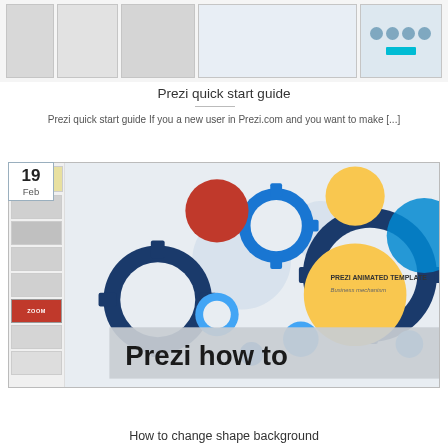[Figure (screenshot): Top image strip showing Prezi quick start guide screenshots]
Prezi quick start guide
Prezi quick start guide If you a new user in Prezi.com and you want to make [...]
[Figure (screenshot): Prezi animated template screenshot showing business mechanism with gears, date badge 19 Feb, and Prezi how to banner]
How to change shape background